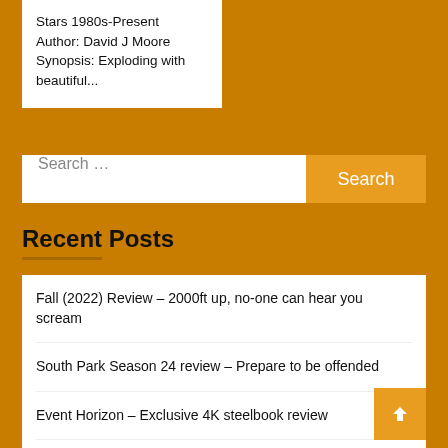Stars 1980s-Present
Author: David J Moore
Synopsis: Exploding with beautiful...
Search ...
Recent Posts
Fall (2022) Review – 2000ft up, no-one can hear you scream
South Park Season 24 review – Prepare to be offended
Event Horizon – Exclusive 4K steelbook review
Midsomer Murder: Series 9, review
*Interview* Chad Collins talks about his new Sniper m